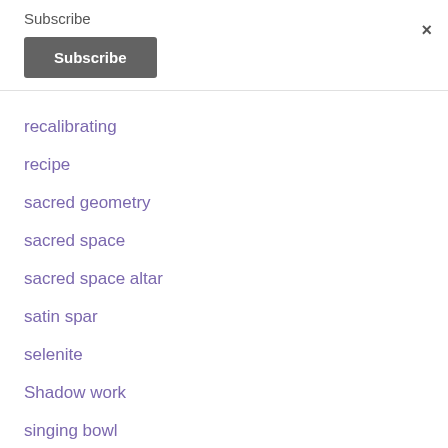Subscribe
Subscribe
×
recalibrating
recipe
sacred geometry
sacred space
sacred space altar
satin spar
selenite
Shadow work
singing bowl
smoky quartz